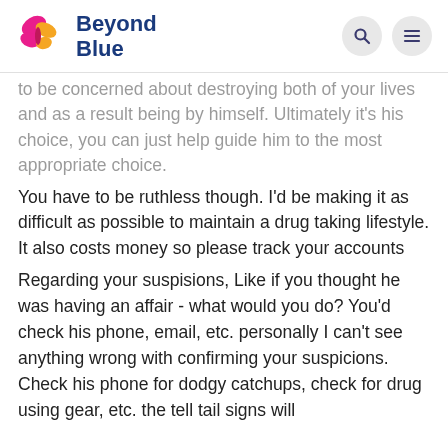Beyond Blue
to be concerned about destroying both of your lives and as a result being by himself. Ultimately it's his choice, you can just help guide him to the most appropriate choice.
You have to be ruthless though. I'd be making it as difficult as possible to maintain a drug taking lifestyle. It also costs money so please track your accounts
Regarding your suspisions, Like if you thought he was having an affair - what would you do? You'd check his phone, email, etc. personally I can't see anything wrong with confirming your suspicions. Check his phone for dodgy catchups, check for drug using gear, etc. the tell tail signs will